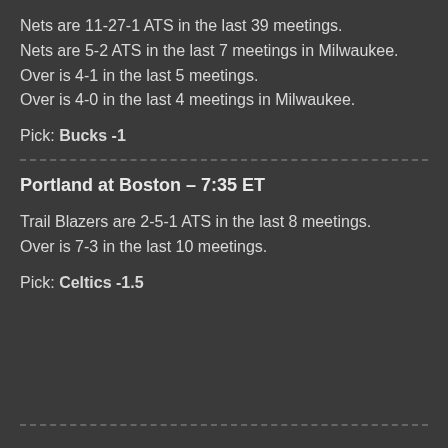Nets are 11-27-1 ATS in the last 39 meetings.
Nets are 5-2 ATS in the last 7 meetings in Milwaukee.
Over is 4-1 in the last 5 meetings.
Over is 4-0 in the last 4 meetings in Milwaukee.
Pick: Bucks -1
Portland at Boston – 7:35 ET
Trail Blazers are 2-5-1 ATS in the last 8 meetings.
Over is 7-3 in the last 10 meetings.
Pick: Celtics -1.5